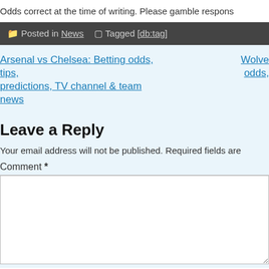Odds correct at the time of writing. Please gamble respons
Posted in News  Tagged [db:tag]
Arsenal vs Chelsea: Betting odds, tips, predictions, TV channel & team news
Wolve odds,
Leave a Reply
Your email address will not be published. Required fields are
Comment *